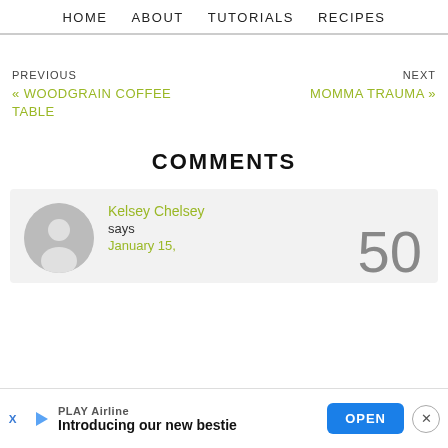HOME   ABOUT   TUTORIALS   RECIPES
PREVIOUS
« WOODGRAIN COFFEE TABLE
NEXT
MOMMMA TRAUMA »
COMMENTS
Kelsey Chelsey says January 15,
50
PLAY Airline Introducing our new bestie   OPEN   ×